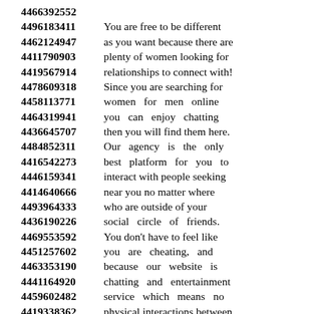4466392552
4496183411 You are free to be different
4462124947 as you want because there are
4411790903 plenty of women looking for
4419567914 relationships to connect with!
4478609318 Since you are searching for
4458113771 women for men online
4464319941 you can enjoy chatting
4436645707 then you will find them here.
4484852311 Our agency is the only
4416542273 best platform for you to
4446159341 interact with people seeking
4414640666 near you no matter where
4493964333 who are outside of your
4436190226 social circle of friends.
4469553592 You don't have to feel like
4451257602 you are cheating, and
4463353190 because our website is
4441164920 chatting and entertainment
4459602482 service which means no
4419338362 physical interactions between
4419396795 men and women online.
4436649707 This is the best site for you,
4483457958 whether you want to chat,
4443680789 you can enjoy online dating